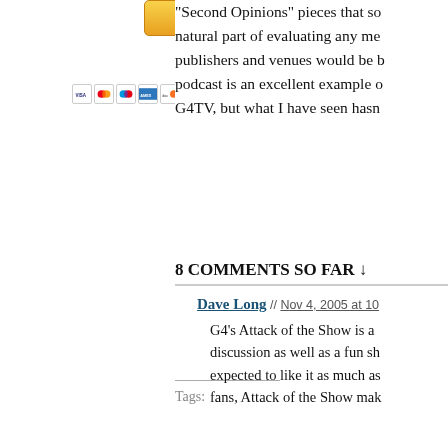[Figure (other): PayPal Donate button with payment card icons (Visa, Mastercard, Maestro, AmEx, Discover, and another card)]
“Second Opinions” pieces that so natural part of evaluating any me publishers and venues would be b podcast is an excellent example o G4TV, but what I have seen hasn
Tags:
8 COMMENTS SO FAR ↓
Dave Long // Nov 4, 2005 at 10
G4’s Attack of the Show is a discussion as well as a fun sh expected to like it as much as fans, Attack of the Show mak